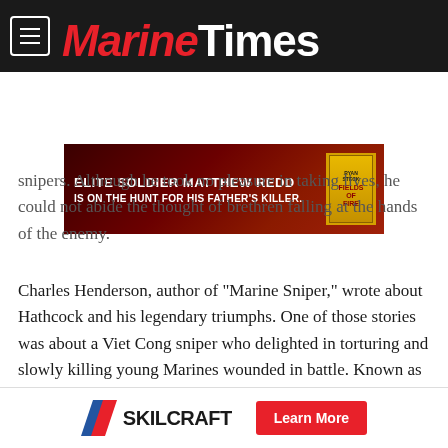Marine Corps Times
[Figure (infographic): Advertisement banner: ELITE SOLDIER MATTHEW REDD IS ON THE HUNT FOR HIS FATHER'S KILLER. with book cover image on dark red background.]
snipers. Although he took no pleasure in taking lives, he could not abide the thought of brethren falling at the hands of the enemy.
Charles Henderson, author of "Marine Sniper," wrote about Hathcock and his legendary triumphs. One of those stories was about a Viet Cong sniper who delighted in torturing and slowly killing young Marines wounded in battle. Known as "Apache Woman," she finally met her end when she came between the crosshairs of Hathcock's unmatched discipline and razor-sharp
[Figure (logo): SKILCRAFT logo with blue and red chevron icon, and a red Learn More button.]